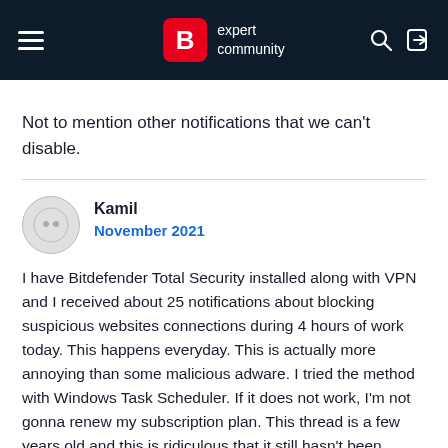B expert community
Not to mention other notifications that we can't disable.
Kamil
November 2021
I have Bitdefender Total Security installed along with VPN and I received about 25 notifications about blocking suspicious websites connections during 4 hours of work today. This happens everyday. This is actually more annoying than some malicious adware. I tried the method with Windows Task Scheduler. If it does not work, I'm not gonna renew my subscription plan. This thread is a few years old and this is ridiculous that it still hasn't been solved and that you guys haven't implemented one simple feature: turn off notifications. Imagine uBlock or Brave